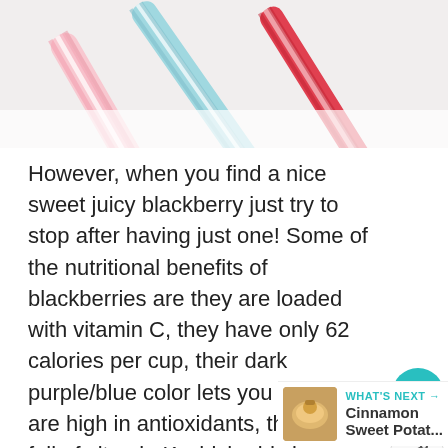[Figure (photo): Close-up photo of colorful paper straws (pink/white striped and red) on a white background]
However, when you find a nice sweet juicy blackberry just try to stop after having just one! Some of the nutritional benefits of blackberries are they are loaded with vitamin C, they have only 62 calories per cup, their dark purple/blue color lets you know they are high in antioxidants, they are full of vitamin K which aids in muscle relaxation, and 30 percent of your daily fiber is found in just one cup of blackberries.
640
WHAT'S NEXT → Cinnamon Sweet Potat...